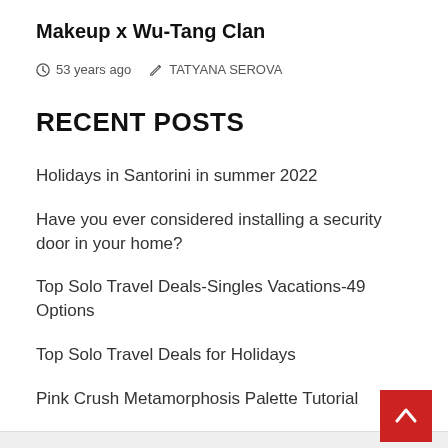Makeup x Wu-Tang Clan
53 years ago  TATYANA SEROVA
RECENT POSTS
Holidays in Santorini in summer 2022
Have you ever considered installing a security door in your home?
Top Solo Travel Deals-Singles Vacations-49 Options
Top Solo Travel Deals for Holidays
Pink Crush Metamorphosis Palette Tutorial
YOU MAY HAVE MISSED